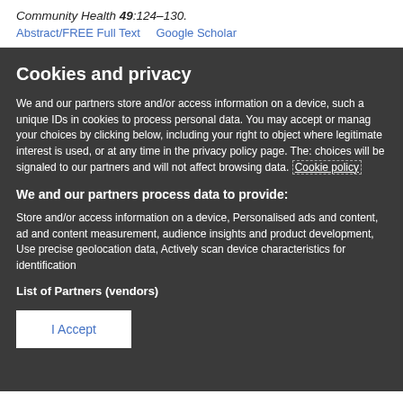Community Health 49:124–130.
Abstract/FREE Full Text   Google Scholar
Cookies and privacy
We and our partners store and/or access information on a device, such as unique IDs in cookies to process personal data. You may accept or manage your choices by clicking below, including your right to object where legitimate interest is used, or at any time in the privacy policy page. These choices will be signaled to our partners and will not affect browsing data. Cookie policy
We and our partners process data to provide:
Store and/or access information on a device, Personalised ads and content, ad and content measurement, audience insights and product development, Use precise geolocation data, Actively scan device characteristics for identification
List of Partners (vendors)
I Accept